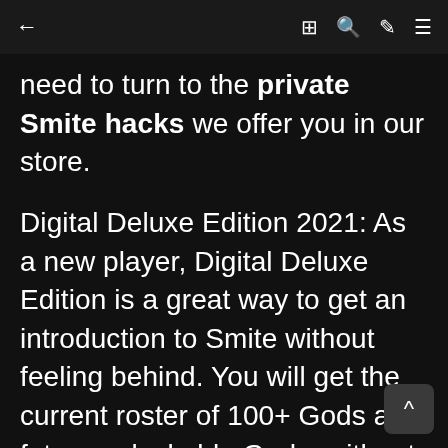← [page title faded] ⊞ 🔍 ✏ ≡
need to turn to the private Smite hacks we offer you in our store.
Digital Deluxe Edition 2021: As a new player, Digital Deluxe Edition is a great way to get an introduction to Smite without feeling behind. You will get the current roster of 100+ Gods and future unlockable Gods, without having to pay further. For each newly released God, you will get voice packs, limited ascended skin, additional Tier-1 skin, and emotes. This also includes the season 8 pass, which is a great bang